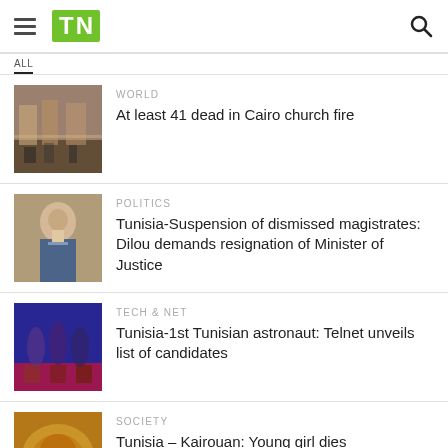TN
WORLD — At least 41 dead in Cairo church fire
POLITICS — Tunisia-Suspension of dismissed magistrates: Dilou demands resignation of Minister of Justice
TECH & NET — Tunisia-1st Tunisian astronaut: Telnet unveils list of candidates
SOCIETY — Tunisia – Kairouan: Young girl dies